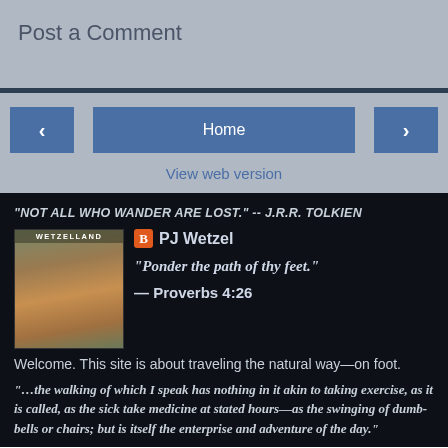Post a Comment
[Figure (screenshot): Navigation bar with left arrow, Home button, and right arrow buttons on gray background]
View web version
"NOT ALL WHO WANDER ARE LOST." -- J.R.R. TOLKIEN
[Figure (photo): Profile photo of PJ Wetzel with WETZELLAND sign, man wearing orange cap]
PJ Wetzel
“Ponder the path of thy feet.”
— Proverbs 4:26
Welcome. This site is about traveling the natural way—on foot.
“…the walking of which I speak has nothing in it akin to taking exercise, as it is called, as the sick take medicine at stated hours—as the swinging of dumb-bells or chairs; but is itself the enterprise and adventure of the day.”